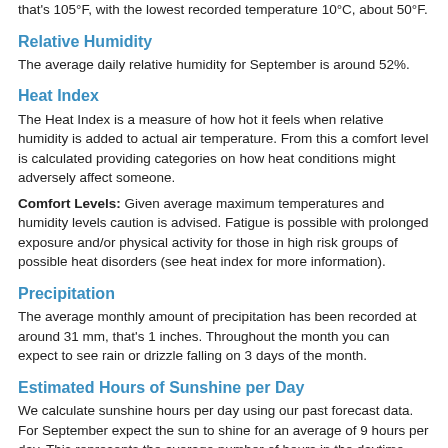that's 105°F, with the lowest recorded temperature 10°C, about 50°F.
Relative Humidity
The average daily relative humidity for September is around 52%.
Heat Index
The Heat Index is a measure of how hot it feels when relative humidity is added to actual air temperature. From this a comfort level is calculated providing categories on how heat conditions might adversely affect someone.
Comfort Levels: Given average maximum temperatures and humidity levels caution is advised. Fatigue is possible with prolonged exposure and/or physical activity for those in high risk groups of possible heat disorders (see heat index for more information).
Precipitation
The average monthly amount of precipitation has been recorded at around 31 mm, that's 1 inches. Throughout the month you can expect to see rain or drizzle falling on 3 days of the month.
Estimated Hours of Sunshine per Day
We calculate sunshine hours per day using our past forecast data. For September expect the sun to shine for an average of 9 hours per day. This represents the average number of hours in the daytime that the sun is visible and not obscured by cloud e.g. the average number of hours the sun is actually out and shining. Note we calculate hours of sunshine per day using our past forecast data, not observation data, thus it is an estimate and not actual.
Wind
The average daily wind speed in September has been around 11 km/h, that's the equivalent to about 7 mph, or 6 knots. In recent years the maximum sustained